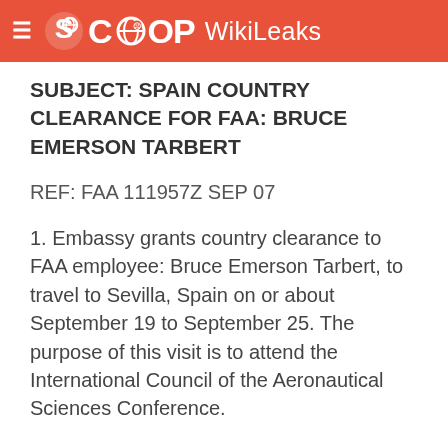SCOOP WikiLeaks
SUBJECT: SPAIN COUNTRY CLEARANCE FOR FAA: BRUCE EMERSON TARBERT
REF: FAA 111957Z SEP 07
1. Embassy grants country clearance to FAA employee: Bruce Emerson Tarbert, to travel to Sevilla, Spain on or about September 19 to September 25. The purpose of this visit is to attend the International Council of the Aeronautical Sciences Conference.